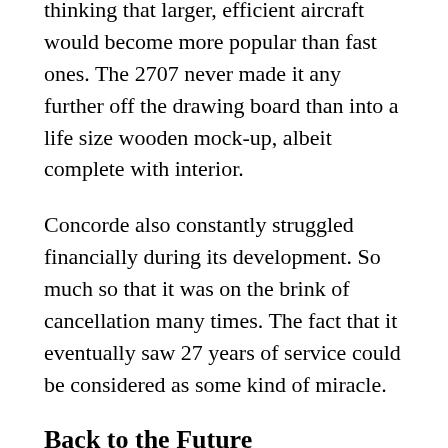thinking that larger, efficient aircraft would become more popular than fast ones. The 2707 never made it any further off the drawing board than into a life size wooden mock-up, albeit complete with interior.
Concorde also constantly struggled financially during its development. So much so that it was on the brink of cancellation many times. The fact that it eventually saw 27 years of service could be considered as some kind of miracle.
Back to the Future
It's hard not to think that we've actually gone backwards when it comes to flight duration. Concorde would land in New York at a local time before the one it had departed in London or Paris. Travelling at 60,000 ft above the Earth, faster than a rifle bullet, you could sip champagne while observing the